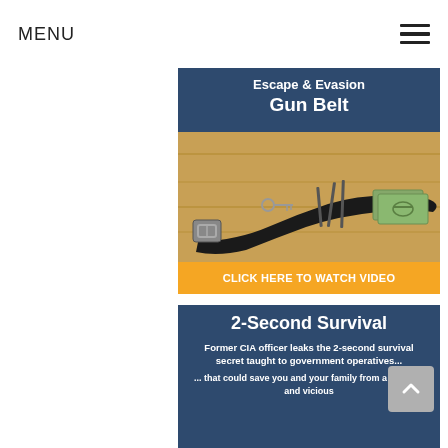MENU
[Figure (illustration): Escape & Evasion Gun Belt advertisement image showing a black leather belt with hidden items including a key, tools, and cash, with a yellow 'CLICK HERE TO WATCH VIDEO' call-to-action banner]
[Figure (infographic): 2-Second Survival advertisement with dark blue background. Title: '2-Second Survival'. Body: 'Former CIA officer leaks the 2-second survival secret taught to government operatives... ... that could save you and your family from a sudden and vicious']